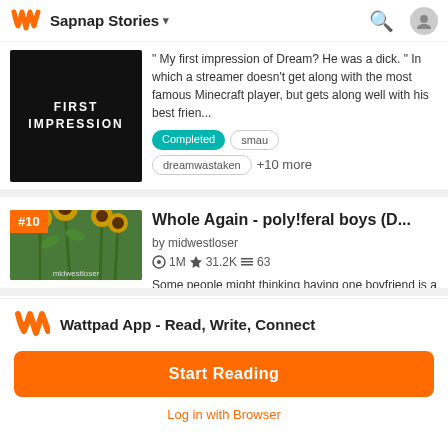Sapnap Stories
" My first impression of Dream? He was a dick. " In which a streamer doesn't get along with the most famous Minecraft player, but gets along well with his best frien...
Completed  smau  dreamwastaken  +10 more
Whole Again - poly!feral boys (D...
by midwestloser
1M  31.2K  63
Some people might thinking having one boyfriend is a lot, now imagine having five famous ones! (poly!feral boys x female oc)
Completed  karl  dreamwastaken
Wattpad App - Read, Write, Connect
Start Reading
Log in with Browser